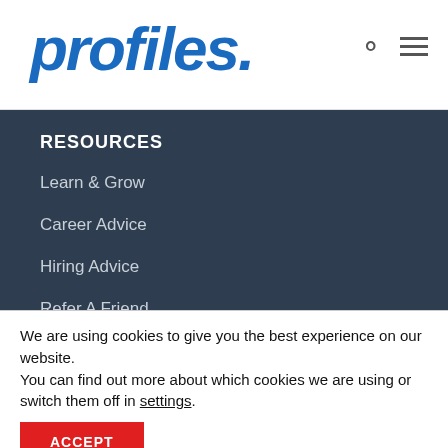profiles.
RESOURCES
Learn & Grow
Career Advice
Hiring Advice
Refer A Friend
LOCATIONS
We are using cookies to give you the best experience on our website.
You can find out more about which cookies we are using or switch them off in settings.
ACCEPT